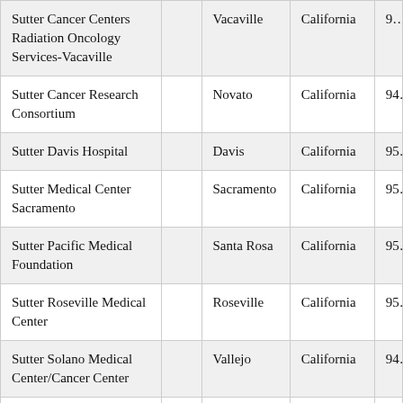| Sutter Cancer Centers Radiation Oncology Services-Vacaville |  | Vacaville | California | 9… |
| Sutter Cancer Research Consortium |  | Novato | California | 94… |
| Sutter Davis Hospital |  | Davis | California | 95… |
| Sutter Medical Center Sacramento |  | Sacramento | California | 95… |
| Sutter Pacific Medical Foundation |  | Santa Rosa | California | 95… |
| Sutter Roseville Medical Center |  | Roseville | California | 95… |
| Sutter Solano Medical Center/Cancer Center |  | Vallejo | California | 94… |
| Swedish Cancer Institute-Eastside |  | Bellevue | Washington | 98… |